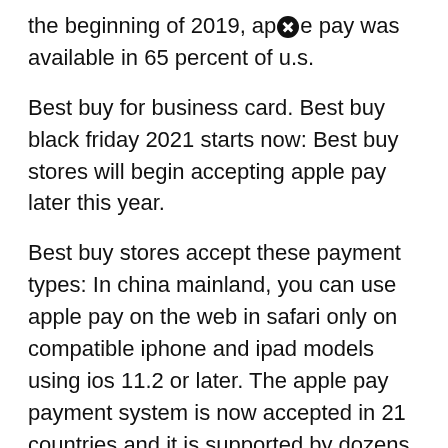the beginning of 2019, ap[X]e pay was available in 65 percent of u.s.
Best buy for business card. Best buy black friday 2021 starts now: Best buy stores will begin accepting apple pay later this year.
Best buy stores accept these payment types: In china mainland, you can use apple pay on the web in safari only on compatible iphone and ipad models using ios 11.2 or later. The apple pay payment system is now accepted in 21 countries and it is supported by dozens of u.s.
Apple, best buy, big lots, bj's, crate and barrel, cvs pharmacy, jcpenney, kohl's , macy's, office depot, officemax, petco, staples and walgreens. For all